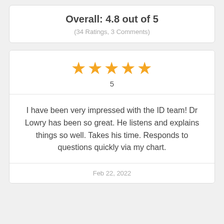Overall: 4.8 out of 5
(34 Ratings, 3 Comments)
[Figure (other): Five gold stars rating display]
5
I have been very impressed with the ID team! Dr Lowry has been so great. He listens and explains things so well. Takes his time. Responds to questions quickly via my chart.
Feb 22, 2022